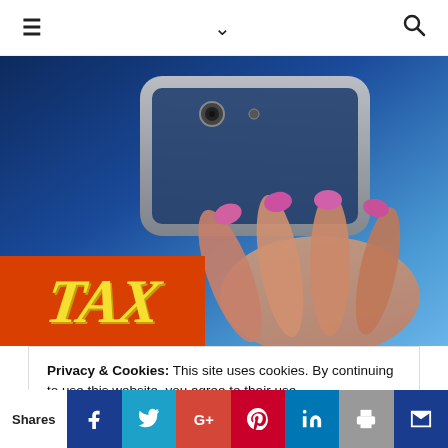≡  ∨  🔍
[Figure (photo): Person holding a smartphone with pink nails, over a dark blue background. In the lower-left corner is a red banner with the word TAX in large yellow italic letters.]
Privacy & Cookies: This site uses cookies. By continuing to use this website, you agree to their use.
To find out more, including how to control cookies, see here: Cookie Policy
Shares | Facebook | Twitter | Google+ | Pinterest | LinkedIn | Print | Mail